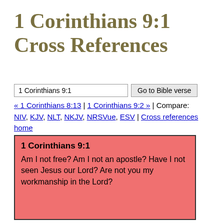1 Corinthians 9:1 Cross References
1 Corinthians 9:1 | Go to Bible verse | « 1 Corinthians 8:13 | 1 Corinthians 9:2 » | Compare: NIV, KJV, NLT, NKJV, NRSVue, ESV | Cross references home
1 Corinthians 9:1
Am I not free? Am I not an apostle? Have I not seen Jesus our Lord? Are not you my workmanship in the Lord?